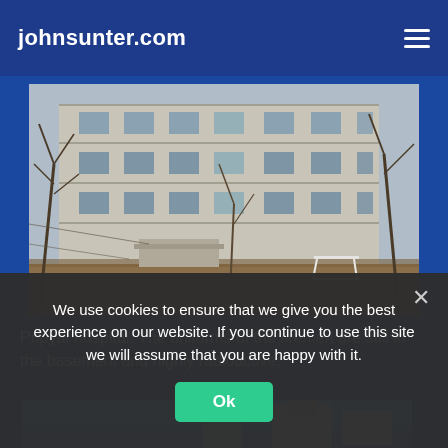johnsunter.com
[Figure (photo): Abandoned multi-story building (Pripyat hospital) with bare winter trees in the foreground and a white metal bench/cart visible on the right side. The building has many windows, some broken, and the ground is covered in fallen leaves.]
Pripyat hospital. The uniforms of the firemen are still in the basement and highly radioactive.
[Figure (photo): Partial view of a second photo showing blue sky and what appears to be industrial or Soviet-era structures, partially cut off at the bottom of the page.]
We use cookies to ensure that we give you the best experience on our website. If you continue to use this site we will assume that you are happy with it.